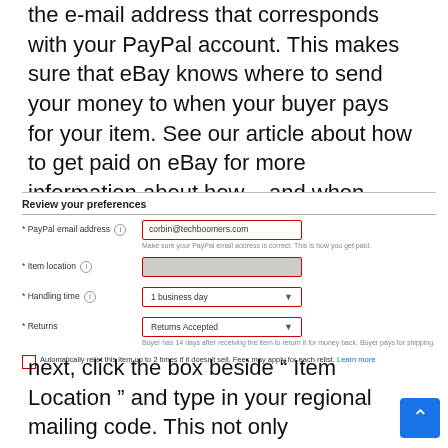the e-mail address that corresponds with your PayPal account. This makes sure that eBay knows where to send your money to when your buyer pays for your item. See our article about how to get paid on eBay for more information about how – and when – you get your money .
[Figure (screenshot): Screenshot of eBay 'Review your preferences' form section showing fields for PayPal email address (corbin@techboomers.com), Item location (blurred), Handling time (1 business day dropdown), Returns (Returns Accepted dropdown), and an auto-relist checkbox.]
next, click the box beside " Item Location " and type in your regional mailing code. This not only